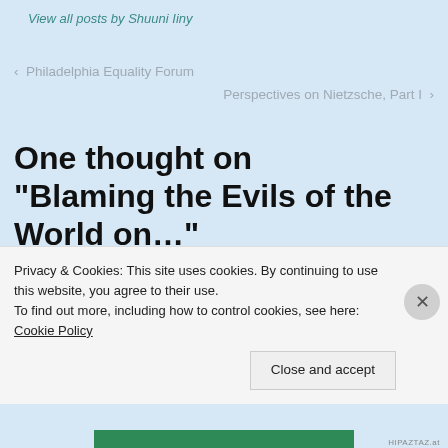View all posts by Shuuni Iiny
< Philadelphia Equality Forum
Perspectives on Nietzsche, Part I >
One thought on “Blaming the Evils of the World on…”
Privacy & Cookies: This site uses cookies. By continuing to use this website, you agree to their use.
To find out more, including how to control cookies, see here: Cookie Policy
Close and accept